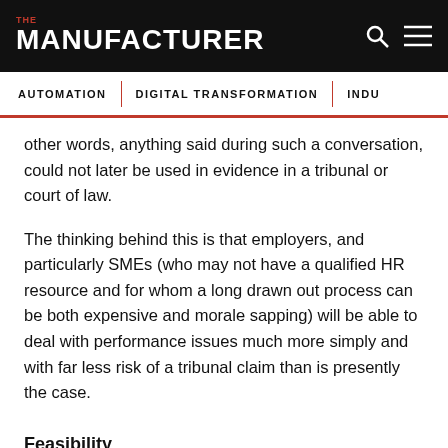THE MANUFACTURER
AUTOMATION | DIGITAL TRANSFORMATION | INDU...
other words, anything said during such a conversation, could not later be used in evidence in a tribunal or court of law.
The thinking behind this is that employers, and particularly SMEs (who may not have a qualified HR resource and for whom a long drawn out process can be both expensive and morale sapping) will be able to deal with performance issues much more simply and with far less risk of a tribunal claim than is presently the case.
Feasibility